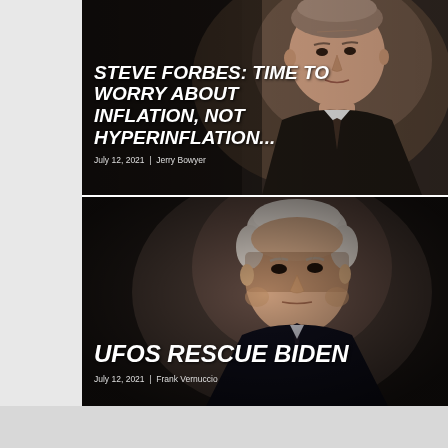[Figure (photo): News article card with photo of Steve Forbes (older man in suit, dark background) with headline overlay]
STEVE FORBES: TIME TO WORRY ABOUT INFLATION, NOT HYPERINFLATION...
July 12, 2021 | Jerry Bowyer
[Figure (photo): News article card with photo of Joe Biden (older man, dark moody background) with headline overlay]
UFOS RESCUE BIDEN
July 12, 2021 | Frank Vernuccio